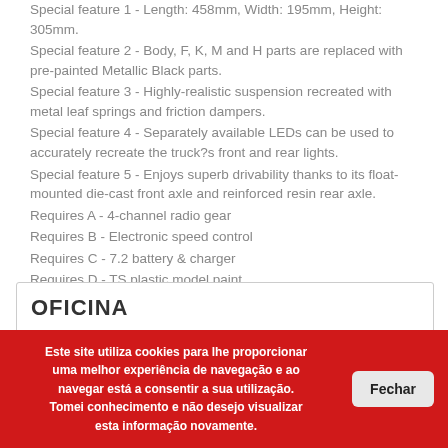Special feature 1 - Length: 458mm, Width: 195mm, Height: 305mm.
Special feature 2 - Body, F, K, M and H parts are replaced with pre-painted Metallic Black parts.
Special feature 3 - Highly-realistic suspension recreated with metal leaf springs and friction dampers.
Special feature 4 - Separately available LEDs can be used to accurately recreate the truck?s front and rear lights.
Special feature 5 - Enjoys superb drivability thanks to its float-mounted die-cast front axle and reinforced resin rear axle.
Requires A - 4-channel radio gear
Requires B - Electronic speed control
Requires C - 7.2 battery & charger
Requires D - TS plastic model paint
OFICINA
Este site utiliza cookies para lhe proporcionar uma melhor experiência de navegação e ao navegar está a consentir a sua utilização. Tomei conhecimento e não desejo visualizar esta informação novamente.